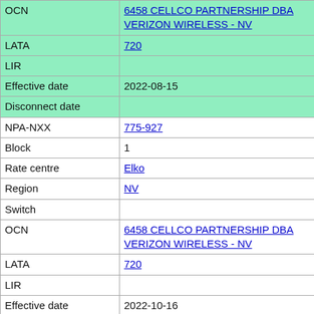| Field | Value |
| --- | --- |
| OCN | 6458 CELLCO PARTNERSHIP DBA VERIZON WIRELESS - NV |
| LATA | 720 |
| LIR |  |
| Effective date | 2022-08-15 |
| Disconnect date |  |
| NPA-NXX | 775-927 |
| Block | 1 |
| Rate centre | Elko |
| Region | NV |
| Switch |  |
| OCN | 6458 CELLCO PARTNERSHIP DBA VERIZON WIRELESS - NV |
| LATA | 720 |
| LIR |  |
| Effective date | 2022-10-16 |
| Disconnect date |  |
| NPA-NXX | 775-927 |
| Block | 7 |
| Rate centre | Elko |
| Region | NV |
| Switch |  |